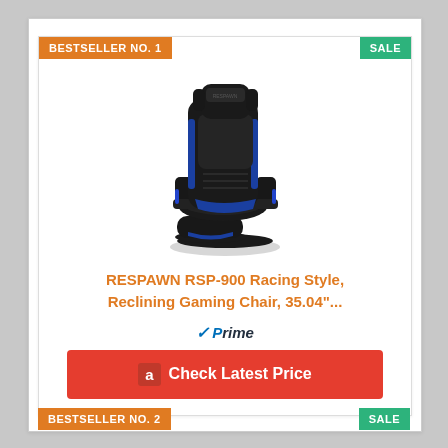BESTSELLER NO. 1
SALE
[Figure (photo): RESPAWN RSP-900 gaming recliner chair in black and blue, shown at an angle on a white background]
RESPAWN RSP-900 Racing Style, Reclining Gaming Chair, 35.04"...
Prime
Check Latest Price
BESTSELLER NO. 2
SALE